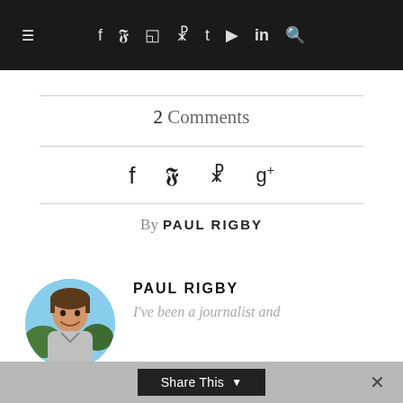≡  f  𝓯  𝓟  t  ▶  in  🔍
2 Comments
[Figure (infographic): Social share icons row: facebook, twitter, pinterest, google+]
By PAUL RIGBY
PAUL RIGBY
I've been a journalist and
By using this website you agree to accept our Privacy Policy and Terms & Conditions
Share This